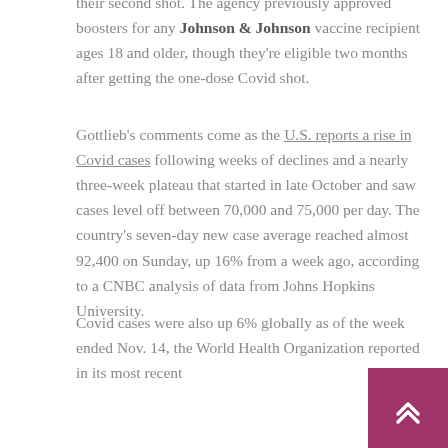their second shot. The agency previously approved boosters for any Johnson & Johnson vaccine recipient ages 18 and older, though they're eligible two months after getting the one-dose Covid shot.
Gottlieb's comments come as the U.S. reports a rise in Covid cases following weeks of declines and a nearly three-week plateau that started in late October and saw cases level off between 70,000 and 75,000 per day. The country's seven-day new case average reached almost 92,400 on Sunday, up 16% from a week ago, according to a CNBC analysis of data from Johns Hopkins University.
Covid cases were also up 6% globally as of the week ended Nov. 14, the World Health Organization reported in its most recent